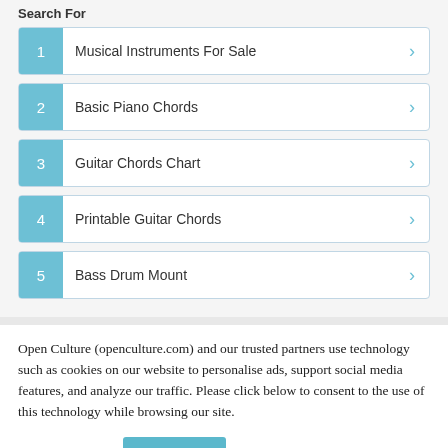Search For
1  Musical Instruments For Sale
2  Basic Piano Chords
3  Guitar Chords Chart
4  Printable Guitar Chords
5  Bass Drum Mount
Open Culture (openculture.com) and our trusted partners use technology such as cookies on our website to personalise ads, support social media features, and analyze our traffic. Please click below to consent to the use of this technology while browsing our site.
Cookie settings   ACCEPT